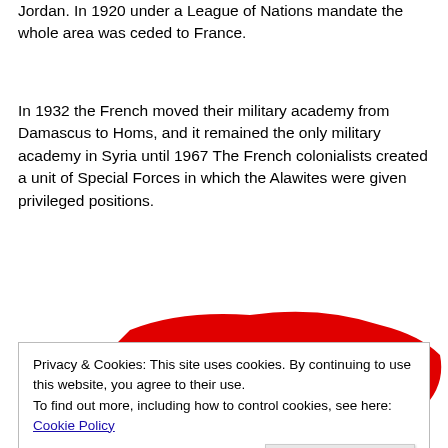Jordan. In 1920 under a League of Nations mandate the whole area was ceded to France.
In 1932 the French moved their military academy from Damascus to Homs, and it remained the only military academy in Syria until 1967 The French colonialists created a unit of Special Forces in which the Alawites were given privileged positions.
[Figure (map): Map showing the Sanjak of Alexandretta region highlighted in blue on the left and a large red region to the right, representing parts of Syria/Turkey.]
Privacy & Cookies: This site uses cookies. By continuing to use this website, you agree to their use.
To find out more, including how to control cookies, see here: Cookie Policy